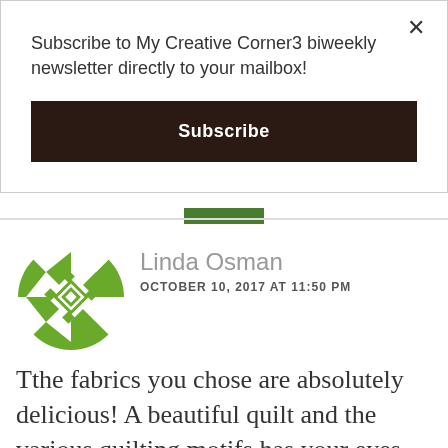Subscribe to My Creative Corner3 biweekly newsletter directly to your mailbox!
Subscribe
Linda Osman
OCTOBER 10, 2017 AT 11:50 PM
Tthe fabrics you chose are absolutely delicious! A beautiful quilt and the various quilting motifs has your eyes looking over the whole piece.